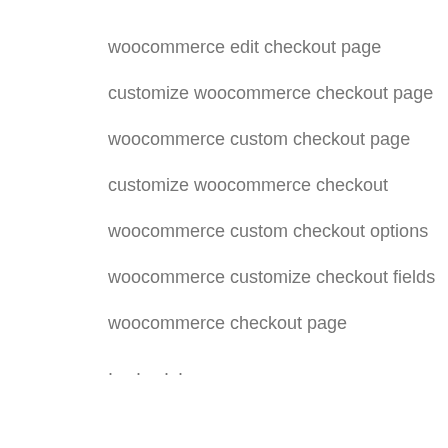woocommerce edit checkout page
customize woocommerce checkout page
woocommerce custom checkout page
customize woocommerce checkout
woocommerce custom checkout options
woocommerce customize checkout fields
woocommerce checkout page
...